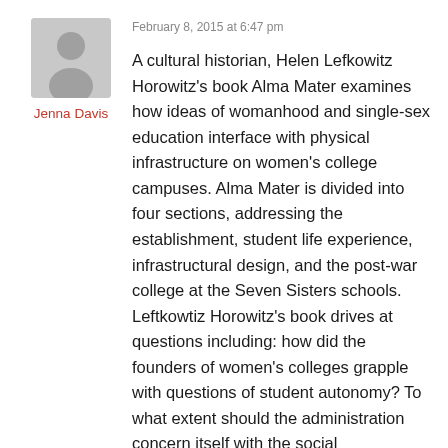[Figure (illustration): Generic user avatar silhouette in gray]
Jenna Davis
February 8, 2015 at 6:47 pm
A cultural historian, Helen Lefkowitz Horowitz's book Alma Mater examines how ideas of womanhood and single-sex education interface with physical infrastructure on women's college campuses. Alma Mater is divided into four sections, addressing the establishment, student life experience, infrastructural design, and the post-war college at the Seven Sisters schools. Leftkowtiz Horowitz's book drives at questions including: how did the founders of women's colleges grapple with questions of student autonomy? To what extent should the administration concern itself with the social development of the female student? How did shifting expectations of what constitutes